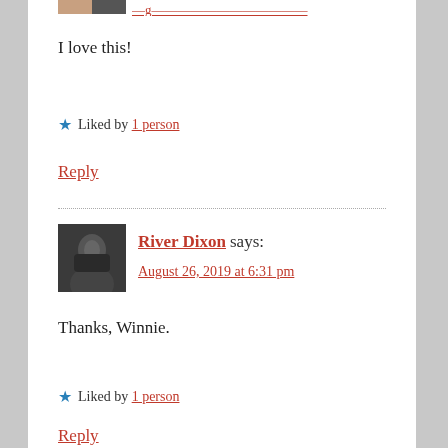[Figure (photo): Partial avatar image at top, cropped]
I love this!
★ Liked by 1 person
Reply
[Figure (photo): Black and white profile photo of River Dixon, a man with long hair and beard]
River Dixon says:
August 26, 2019 at 6:31 pm
Thanks, Winnie.
★ Liked by 1 person
Reply